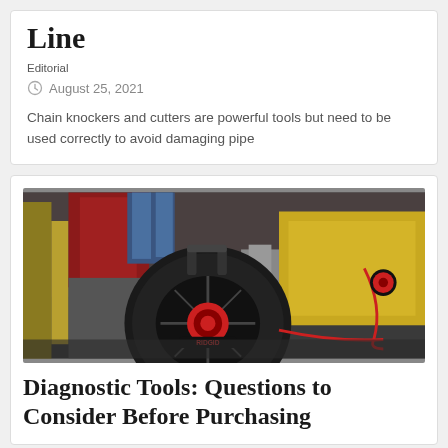Line
Editorial
August 25, 2021
Chain knockers and cutters are powerful tools but need to be used correctly to avoid damaging pipe
[Figure (photo): A pipe inspection camera reel/drum unit on wheels, black and red, sitting on a concrete floor in an industrial warehouse setting. A person's legs in jeans are visible in the background. Yellow insulation material and a red cord are visible.]
Diagnostic Tools: Questions to Consider Before Purchasing